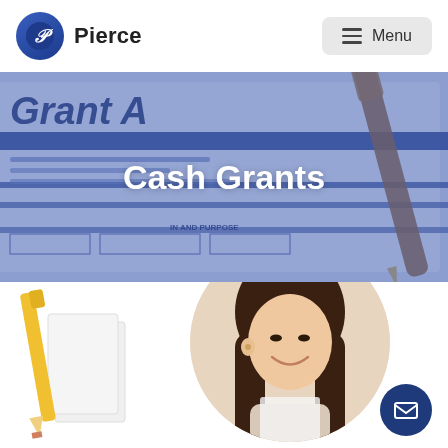Pierce
[Figure (photo): Hero banner showing a grant application form document with blue overlay tint and 'Cash Grants' title text centered over it]
Cash Grants
[Figure (photo): Young woman with long brown hair smiling while looking down at paper/document, displayed in a circular crop on white background, with a pencil/paper graphic on the left side and a dark blue email button on the bottom right]